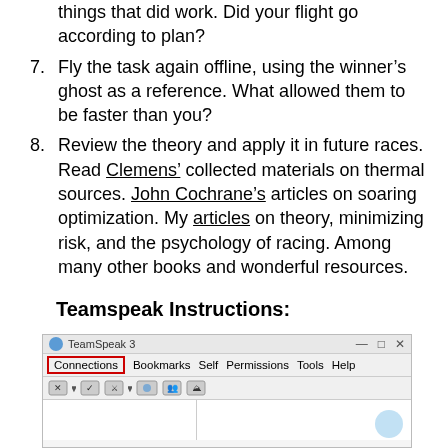things that did work. Did your flight go according to plan?
7. Fly the task again offline, using the winner’s ghost as a reference. What allowed them to be faster than you?
8. Review the theory and apply it in future races. Read Clemens’ collected materials on thermal sources. John Cochrane’s articles on soaring optimization. My articles on theory, minimizing risk, and the psychology of racing. Among many other books and wonderful resources.
Teamspeak Instructions:
[Figure (screenshot): Screenshot of TeamSpeak 3 application window showing the menu bar with Connections highlighted in a red box, Bookmarks, Self, Permissions, Tools, Help menus, a toolbar with icons, and two panels below.]